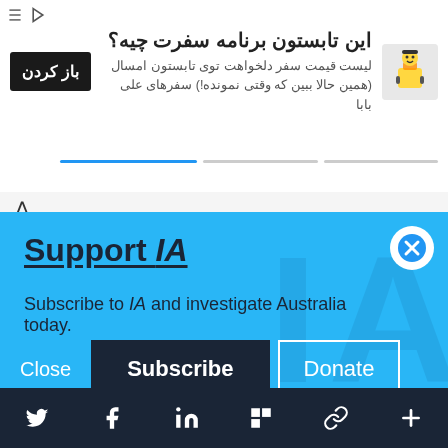[Figure (screenshot): Persian language advertisement banner with text asking about summer travel plans, a dark button labeled 'باز کردن' (Open), and a cartoon image of a character with luggage]
e as rocking horse poo, one wonders who will make the necessary "sacrifices" cheerfully? Age and poor finances lead me to retain my old small car, doing few Km's. We have solar, are careful and economic, thrifty and fairly "green". But, we'll have to do more, perhaps.
Support IA
Subscribe to IA and investigate Australia today.
[Figure (screenshot): Support IA modal overlay with Close, Subscribe, and Donate buttons on a blue background with a watermark IA logo]
Social sharing icons: Twitter, Facebook, LinkedIn, Flipboard, link, plus